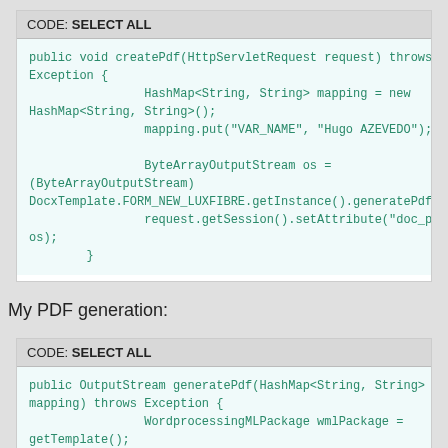[Figure (screenshot): Code block 1 with header 'CODE: SELECT ALL' and Java code for createPdf method]
My PDF generation:
[Figure (screenshot): Code block 2 with header 'CODE: SELECT ALL' and Java code for generatePdf method]